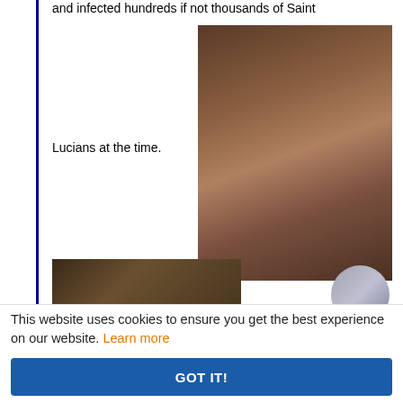and infected hundreds if not thousands of Saint
[Figure (photo): Close-up photo of a child with visible skin lesions/sores on face and chest]
Lucians at the time.
[Figure (photo): Partially visible secondary photo showing a person]
This website uses cookies to ensure you get the best experience on our website. Learn more
GOT IT!